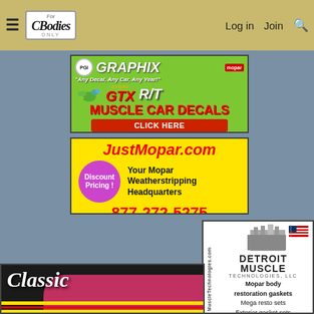For C Bodies Only — navigation bar with Log in, Join, Search
[Figure (illustration): PGI Graphix advertisement — Muscle Car Decals, 'Any Decal, Any Car, Any Year!' — green background with GTX and R/T logos, CLICK HERE button]
[Figure (illustration): JustMopar.com advertisement — Your Mopar Weatherstripping Headquarters, Discount Pricing!, phone 877-272-5275, yellow background with purple discount circle]
[Figure (illustration): Detroit Muscle Technologies LLC advertisement — Mopar body restoration gaskets, Mega resto sets, Exterior gasket sets, Firewall gasket sets, Heater box resto kits, Splash shield sets — MuscleTechnologies.com]
[Figure (photo): Classic car advertisement — dark background with 'Classic' text in white italic script over a car image with yellow/red racing stripes]